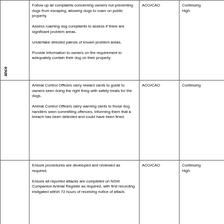|  | Action/Strategy | Responsibility | Status/Priority |
| --- | --- | --- | --- |
| ance | Follow up all complaints concerning owners not preventing dogs from escaping, allowing dogs to roam on public property.

Assess roaming dog complaints to assess if there are significant problem areas.

Undertake directed patrols of known problem areas.

Provide information to owners on the requirement to adequately contain their dog on their property. | ACO/CAO | Continuing
High |
|  | Animal Control Officers carry reward cards to guide to owners seen doing the right thing with safety treats for the dogs.

Animal Control Officers carry warning cards to those dog handlers seen committing offences, informing them that a breach has been detected and could have been fined. | ACO/CAO | Continuing |
|  | Ensure procedures are developed and reviewed as required.

Ensure all reported attacks are completed on NSW Companion Animal Register as required, with first recording instigated within 72 hours of receiving notice of attack. | ACO/CAO | Continuing
High |